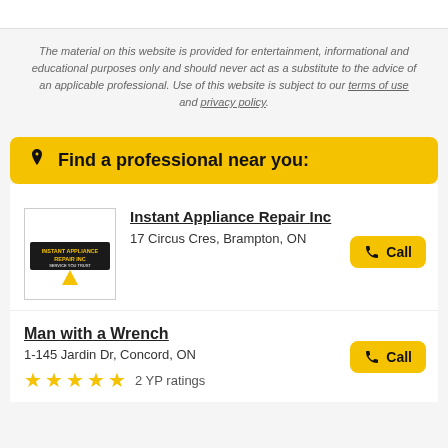The material on this website is provided for entertainment, informational and educational purposes only and should never act as a substitute to the advice of an applicable professional. Use of this website is subject to our terms of use and privacy policy.
Find a professional near you:
Instant Appliance Repair Inc
17 Circus Cres, Brampton, ON
Man with a Wrench
1-145 Jardin Dr, Concord, ON
★★★★★ 2 YP ratings